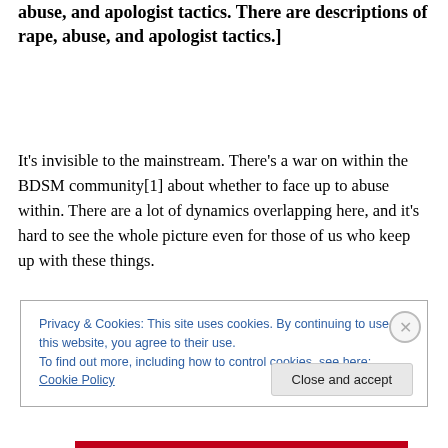abuse, and apologist tactics.  There are descriptions of rape, abuse, and apologist tactics.]
It's invisible to the mainstream.  There's a war on within the BDSM community[1] about whether to face up to abuse within.  There are a lot of dynamics overlapping here, and it's hard to see the whole picture even for those of us who keep up with these things.
Privacy & Cookies: This site uses cookies. By continuing to use this website, you agree to their use.
To find out more, including how to control cookies, see here: Cookie Policy